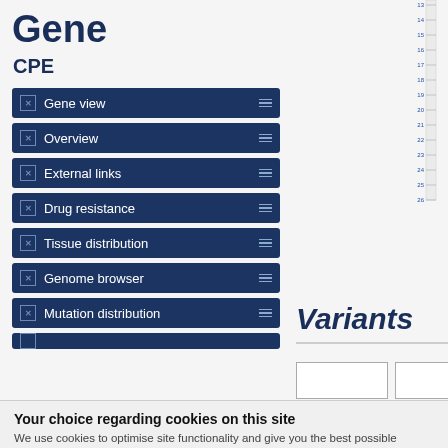Gene
CPE
Gene view
Overview
External links
Drug resistance
Tissue distribution
Genome browser
Mutation distribution
[Figure (other): Chromosome ruler showing positions 13 through 26 on the right side of the page]
Variants
Your choice regarding cookies on this site
We use cookies to optimise site functionality and give you the best possible experience.
Accept / Settings / X buttons